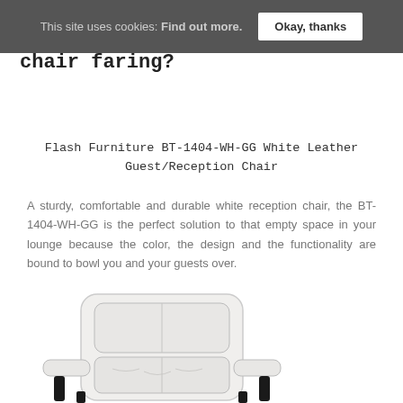This site uses cookies: Find out more.  Okay, thanks
chair faring?
Flash Furniture BT-1404-WH-GG White Leather Guest/Reception Chair
A sturdy, comfortable and durable white reception chair, the BT-1404-WH-GG is the perfect solution to that empty space in your lounge because the color, the design and the functionality are bound to bowl you and your guests over.
[Figure (photo): White leather guest/reception chair with black arms and legs, photographed from a three-quarter front angle on a white background.]